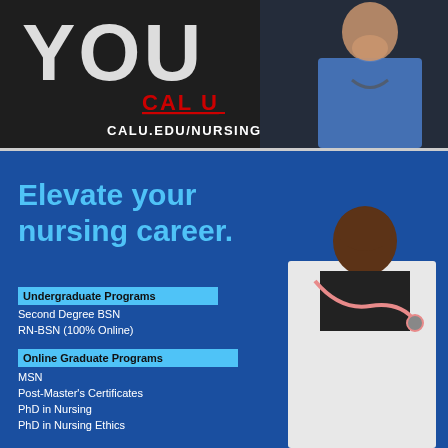[Figure (photo): Top banner with dark background showing 'YOU' text and a nurse in blue scrubs with stethoscope, with CAL U logo and CALU.EDU/NURSING URL]
[Figure (photo): Blue advertisement banner: 'Elevate your nursing career.' with a nurse in white coat and stethoscope, listing Undergraduate Programs (Second Degree BSN, RN-BSN 100% Online) and Online Graduate Programs (MSN, Post-Master's Certificates, PhD in Nursing, PhD in Nursing Ethics)]